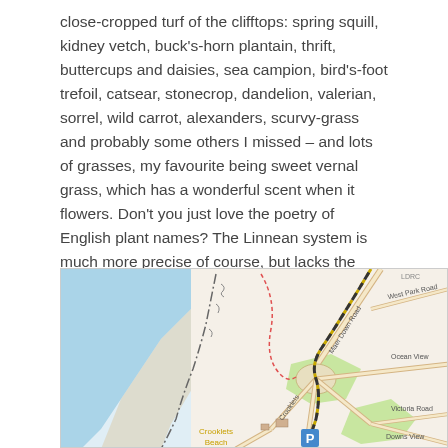close-cropped turf of the clifftops: spring squill, kidney vetch, buck's-horn plantain, thrift, buttercups and daisies, sea campion, bird's-foot trefoil, catsear, stonecrop, dandelion, valerian, sorrel, wild carrot, alexanders, scurvy-grass and probably some others I missed – and lots of grasses, my favourite being sweet vernal grass, which has a wonderful scent when it flowers. Don't you just love the poetry of English plant names? The Linnean system is much more precise of course, but lacks the charm of the vernacular.
[Figure (map): Street map showing Crooklets Beach area with roads including West Park Road, Maer Down Road, Crooklets road, Ocean View, Victoria Road, Downs View. Shows coastline to the left with blue water, green park areas, and a parking symbol (P). The area is in what appears to be Bude, Cornwall, UK.]